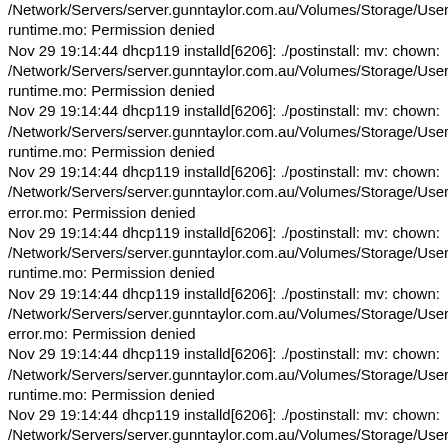/Network/Servers/server.gunntaylor.com.au/Volumes/Storage/Users/dbell/Library/M
runtime.mo: Permission denied
Nov 29 19:14:44 dhcp119 installd[6206]: ./postinstall: mv: chown:
/Network/Servers/server.gunntaylor.com.au/Volumes/Storage/Users/dbell/Library/M
runtime.mo: Permission denied
Nov 29 19:14:44 dhcp119 installd[6206]: ./postinstall: mv: chown:
/Network/Servers/server.gunntaylor.com.au/Volumes/Storage/Users/dbell/Library/M
runtime.mo: Permission denied
Nov 29 19:14:44 dhcp119 installd[6206]: ./postinstall: mv: chown:
/Network/Servers/server.gunntaylor.com.au/Volumes/Storage/Users/dbell/Library/M
error.mo: Permission denied
Nov 29 19:14:44 dhcp119 installd[6206]: ./postinstall: mv: chown:
/Network/Servers/server.gunntaylor.com.au/Volumes/Storage/Users/dbell/Library/M
runtime.mo: Permission denied
Nov 29 19:14:44 dhcp119 installd[6206]: ./postinstall: mv: chown:
/Network/Servers/server.gunntaylor.com.au/Volumes/Storage/Users/dbell/Library/M
error.mo: Permission denied
Nov 29 19:14:44 dhcp119 installd[6206]: ./postinstall: mv: chown:
/Network/Servers/server.gunntaylor.com.au/Volumes/Storage/Users/dbell/Library/M
runtime.mo: Permission denied
Nov 29 19:14:44 dhcp119 installd[6206]: ./postinstall: mv: chown:
/Network/Servers/server.gunntaylor.com.au/Volumes/Storage/Users/dbell/Library/M
runtime.mo: Permission denied
Nov 29 19:14:44 dhcp119 installd[6206]: ./postinstall: mv: chown:
/Network/Servers/server.gunntaylor.com.au/Volumes/Storage/Users/dbell/Library/M
Permission denied